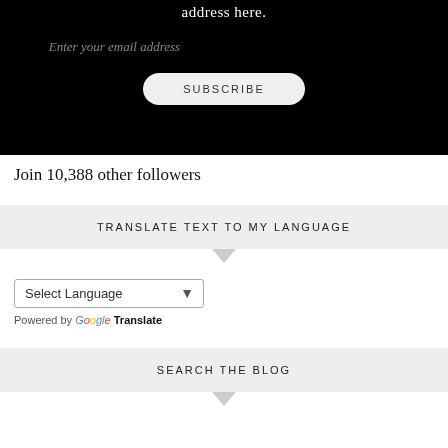[Figure (screenshot): Black banner section showing email subscription UI with 'address here.' text, email input placeholder, and SUBSCRIBE button]
Join 10,388 other followers
TRANSLATE TEXT TO MY LANGUAGE
[Figure (screenshot): Google Translate widget with Select Language dropdown and 'Powered by Google Translate' text]
SEARCH THE BLOG